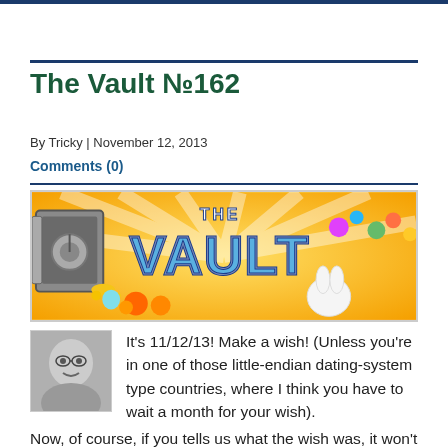The Vault №162
By Tricky | November 12, 2013
Comments (0)
[Figure (illustration): The Vault banner image with colorful cartoon monsters and game characters on a yellow background, with 'THE VAULT' text in large blue metallic letters and a safe on the left.]
It's 11/12/13! Make a wish! (Unless you're in one of those little-endian dating-system type countries, where I think you have to wait a month for your wish). Now, of course, if you tells us what the wish was, it won't come true... but if it happened to be a selection of quality games from the JiG archives, than The Vault has you covered, with